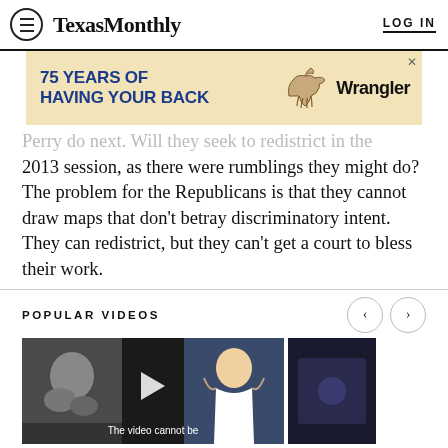TexasMonthly  LOG IN
[Figure (infographic): Wrangler advertisement: '75 YEARS OF HAVING YOUR BACK' with Wrangler logo and horse illustration on tan background]
Perry do next. Will they seek to redistrict in the 2013 session, as there were rumblings they might do? The problem for the Republicans is that they cannot draw maps that don't betray discriminatory intent. They can redistrict, but they can't get a court to bless their work.
POPULAR VIDEOS
[Figure (screenshot): Video thumbnail showing black and white image on left, cheerleader on right, with play button and caption 'The video cannot be']